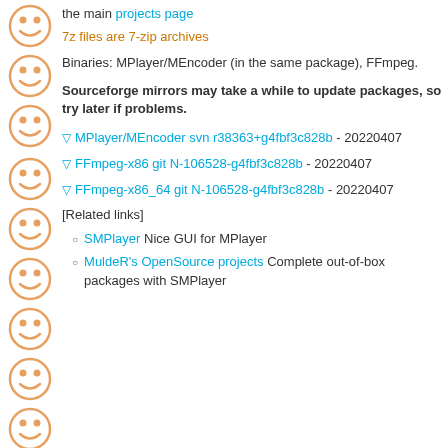the main projects page
7z files are 7-zip archives
Binaries: MPlayer/MEncoder (in the same package), FFmpeg.
Sourceforge mirrors may take a while to update packages, so try later if problems.
▽ MPlayer/MEncoder svn r38363+g4fbf3c828b - 20220407
▽ FFmpeg-x86 git N-106528-g4fbf3c828b - 20220407
▽ FFmpeg-x86_64 git N-106528-g4fbf3c828b - 20220407
[Related links]
SMPlayer Nice GUI for MPlayer
MuldeR's OpenSource projects Complete out-of-box packages with SMPlayer